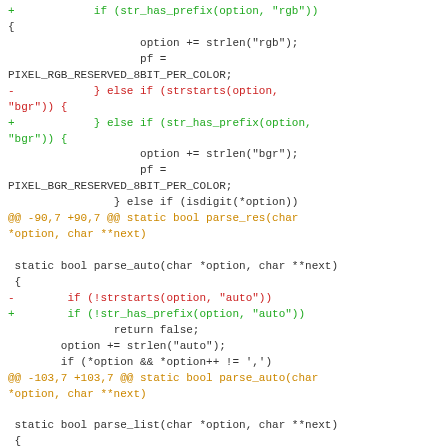[Figure (other): Code diff showing changes replacing strstarts() with str_has_prefix() in parse_res, parse_auto, and parse_list functions in C source code]